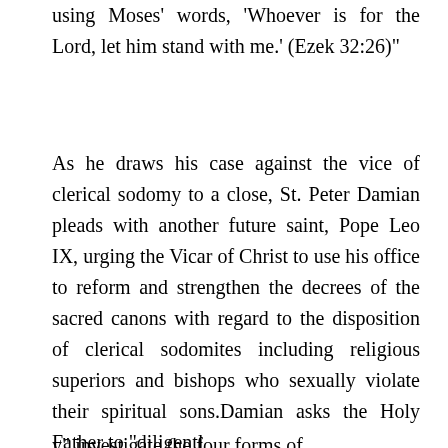using Moses' words, 'Whoever is for the Lord, let him stand with me.' (Ezek 32:26)"
As he draws his case against the vice of clerical sodomy to a close, St. Peter Damian pleads with another future saint, Pope Leo IX, urging the Vicar of Christ to use his office to reform and strengthen the decrees of the sacred canons with regard to the disposition of clerical sodomites including religious superiors and bishops who sexually violate their spiritual sons.Damian asks the Holy Father to "diligentl
y" investigate the four forms of